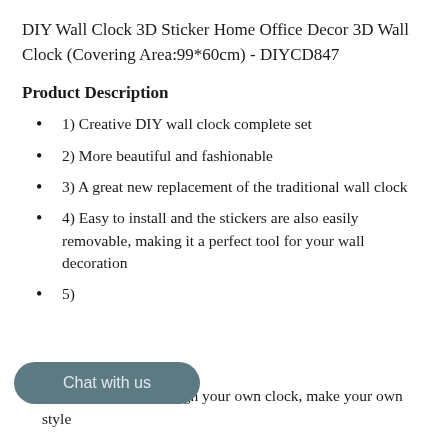DIY Wall Clock 3D Sticker Home Office Decor 3D Wall Clock (Covering Area:99*60cm) - DIYCD847
Product Description
1) Creative DIY wall clock complete set
2) More beautiful and fashionable
3) A great new replacement of the traditional wall clock
4) Easy to install and the stickers are also easily removable, making it a perfect tool for your wall decoration
5) [includes] all the materials, design your own clock, make your own style